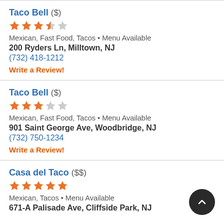Taco Bell ($)
[Figure (other): 3.5 star rating (orange stars)]
Mexican, Fast Food, Tacos • Menu Available
200 Ryders Ln, Milltown, NJ
(732) 418-1212
Write a Review!
Taco Bell ($)
[Figure (other): 3 star rating (orange stars)]
Mexican, Fast Food, Tacos • Menu Available
901 Saint George Ave, Woodbridge, NJ
(732) 750-1234
Write a Review!
Casa del Taco ($$)
[Figure (other): 5 star rating (orange stars)]
Mexican, Tacos • Menu Available
671-A Palisade Ave, Cliffside Park, NJ